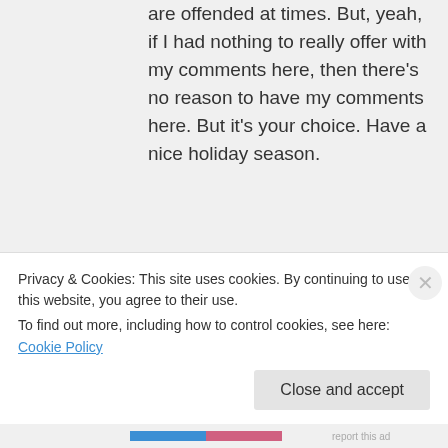are offended at times. But, yeah, if I had nothing to really offer with my comments here, then there's no reason to have my comments here. But it's your choice. Have a nice holiday season.
Like
contimplating.com on December 21, 2012 at 2:21 pm
Privacy & Cookies: This site uses cookies. By continuing to use this website, you agree to their use.
To find out more, including how to control cookies, see here: Cookie Policy
Close and accept